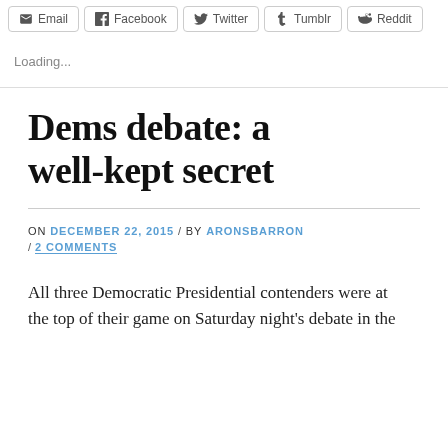Email | Facebook | Twitter | Tumblr | Reddit
Loading...
Dems debate: a well-kept secret
ON DECEMBER 22, 2015 / BY ARONSBARRON / 2 COMMENTS
All three Democratic Presidential contenders were at the top of their game on Saturday night's debate in the...